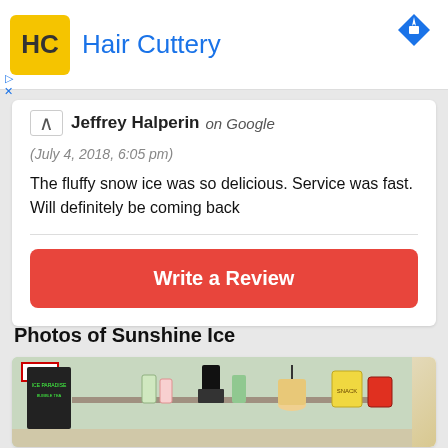[Figure (logo): Hair Cuttery advertisement banner with yellow HC logo and blue brand name]
Jeffrey Halperin on Google
(July 4, 2018, 6:05 pm)
The fluffy snow ice was so delicious. Service was fast. Will definitely be coming back
Write a Review
Photos of Sunshine Ice
[Figure (photo): Interior photo of Sunshine Ice shop showing shelves with product packages and an EXIT sign]